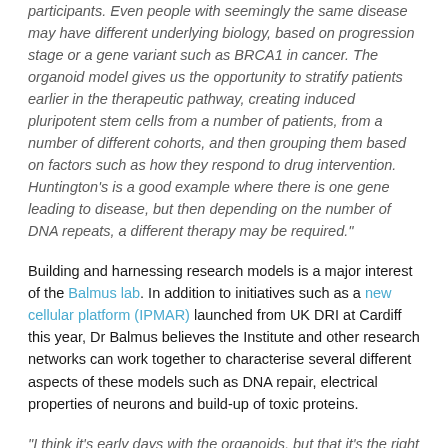participants. Even people with seemingly the same disease may have different underlying biology, based on progression stage or a gene variant such as BRCA1 in cancer. The organoid model gives us the opportunity to stratify patients earlier in the therapeutic pathway, creating induced pluripotent stem cells from a number of patients, from a number of different cohorts, and then grouping them based on factors such as how they respond to drug intervention. Huntington's is a good example where there is one gene leading to disease, but then depending on the number of DNA repeats, a different therapy may be required."
Building and harnessing research models is a major interest of the Balmus lab. In addition to initiatives such as a new cellular platform (IPMAR) launched from UK DRI at Cardiff this year, Dr Balmus believes the Institute and other research networks can work together to characterise several different aspects of these models such as DNA repair, electrical properties of neurons and build-up of toxic proteins.
"I think it's early days with the organoids, but that it's the right path to follow. We have many disease questions that need